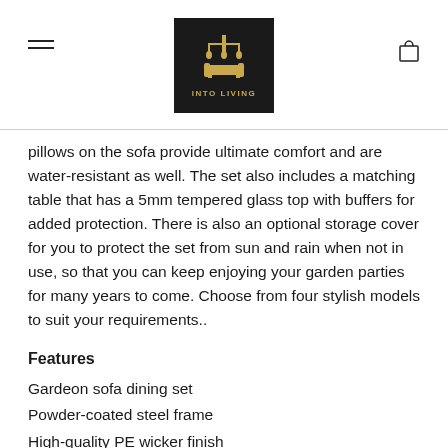INTO LIVING
pillows on the sofa provide ultimate comfort and are water-resistant as well. The set also includes a matching table that has a 5mm tempered glass top with buffers for added protection. There is also an optional storage cover for you to protect the set from sun and rain when not in use, so that you can keep enjoying your garden parties for many years to come. Choose from four stylish models to suit your requirements..
Features
Gardeon sofa dining set
Powder-coated steel frame
High-quality PE wicker finish
UV-resistant for 1500 hours